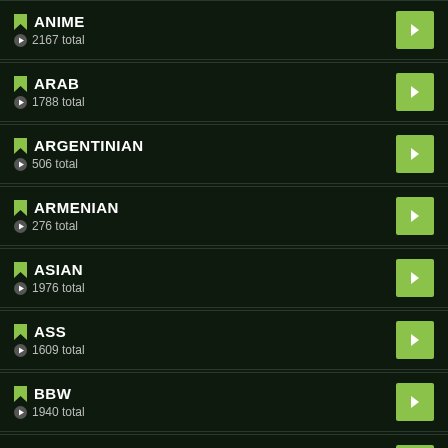ANIME — 2167 total
ARAB — 1788 total
ARGENTINIAN — 506 total
ARMENIAN — 276 total
ASIAN — 1976 total
ASS — 1609 total
BBW — 1940 total
BDSM